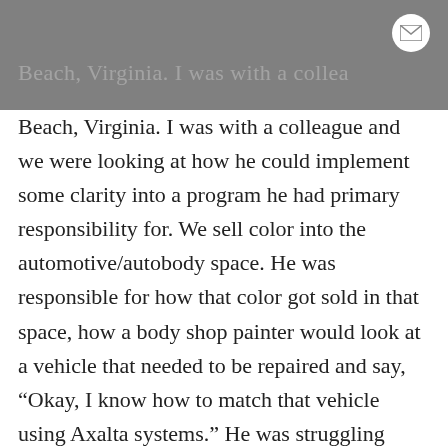Beach, Virginia. I was with a colleague and we were looking at how he could implement some clarity into a program he had primary responsibility for. We sell color into the automotive/autobody space. He was responsible for how that color got sold in that space, how a body shop painter would look at a vehicle that needed to be repaired and say, “Okay, I know how to match that vehicle using Axalta systems.” He was struggling mightily